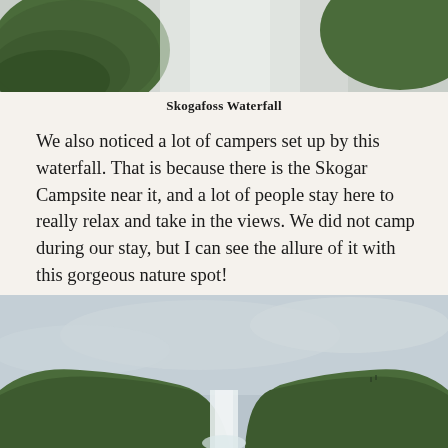[Figure (photo): Top portion of Skogafoss Waterfall with mossy green rocks and mist]
Skogafoss Waterfall
We also noticed a lot of campers set up by this waterfall. That is because there is the Skogar Campsite near it, and a lot of people stay here to really relax and take in the views. We did not camp during our stay, but I can see the allure of it with this gorgeous nature spot!
[Figure (photo): Wide landscape view of Skogafoss Waterfall from a distance, showing the waterfall between two green hills under a cloudy sky]